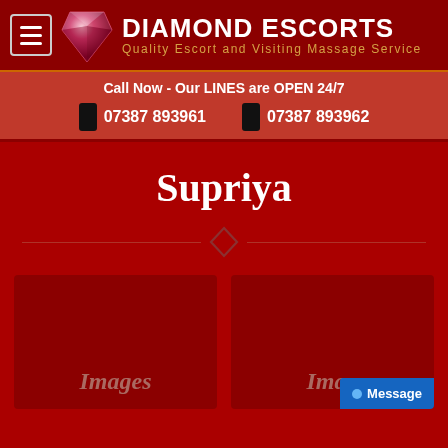Diamond Escorts - Quality Escort and Visiting Massage Service
Call Now - Our LINES are OPEN 24/7
07387 893961   07387 893962
Supriya
[Figure (other): Two image placeholder boxes labeled 'Images' on a dark red background]
Message